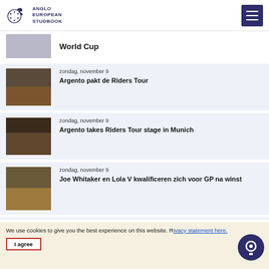Anglo European Studbook
World Cup
zondag, november 9
Argento pakt de Riders Tour
zondag, november 9
Argento takes Riders Tour stage in Munich
zondag, november 9
Joe Whitaker en Lola V kwalificeren zich voor GP na winst
zondag, november 9
We use cookies to give you the best experience on this website. Read privacy statement here.
I agree